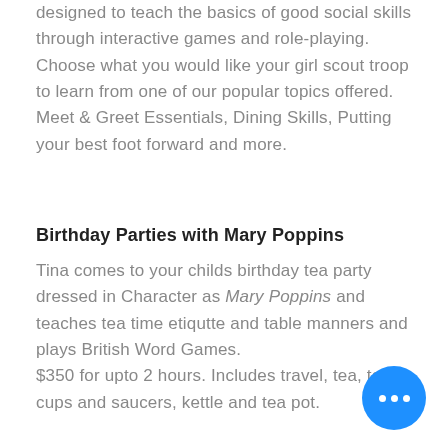designed to teach the basics of good social skills through interactive games and role-playing. Choose what you would like your girl scout troop to learn from one of our popular topics offered. Meet & Greet Essentials, Dining Skills, Putting your best foot forward and more.
Birthday Parties with Mary Poppins
Tina comes to your childs birthday tea party dressed in Character as Mary Poppins and teaches tea time etiqutte and table manners and plays British Word Games. $350 for upto 2 hours. Includes travel, tea, tea cups and saucers, kettle and tea pot.